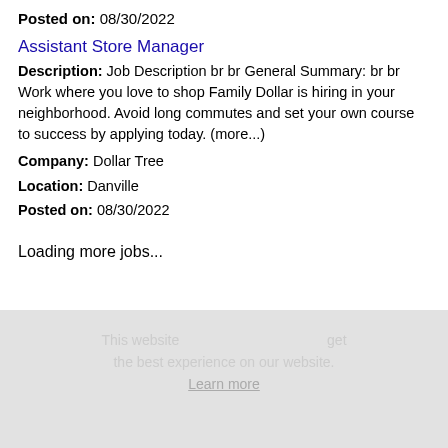Posted on: 08/30/2022
Assistant Store Manager
Description: Job Description br br General Summary: br br Work where you love to shop Family Dollar is hiring in your neighborhood. Avoid long commutes and set your own course to success by applying today. (more...)
Company: Dollar Tree
Location: Danville
Posted on: 08/30/2022
Loading more jobs...
This website Log In or Create An Account get the best experience on our website.
Learn more
Username:
Got it!
Password: